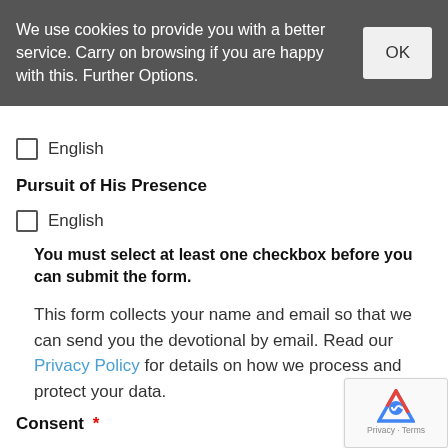We use cookies to provide you with a better service. Carry on browsing if you are happy with this. Further Options.
☐ English
Pursuit of His Presence
☐ English
You must select at least one checkbox before you can submit the form.
This form collects your name and email so that we can send you the devotional by email. Read our Privacy Policy for details on how we process and protect your data.
Consent *